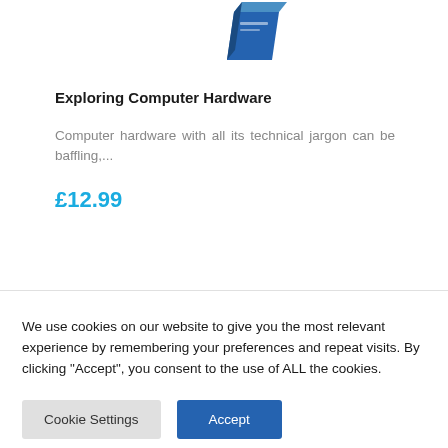[Figure (illustration): Partial view of a book or product box with blue geometric design, cropped at top]
Exploring Computer Hardware
Computer hardware with all its technical jargon can be baffling,...
£12.99
We use cookies on our website to give you the most relevant experience by remembering your preferences and repeat visits. By clicking "Accept", you consent to the use of ALL the cookies.